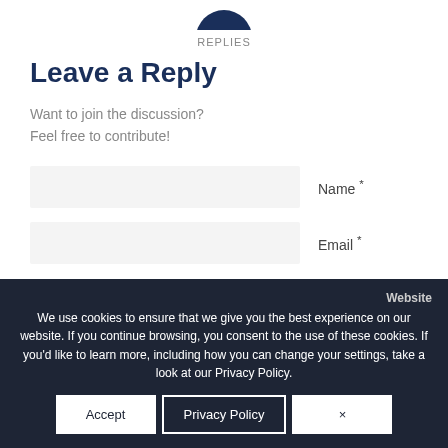[Figure (illustration): Partial circular icon/logo at top center, dark blue color, cropped at top]
REPLIES
Leave a Reply
Want to join the discussion?
Feel free to contribute!
Name *
Email *
Website
We use cookies to ensure that we give you the best experience on our website. If you continue browsing, you consent to the use of these cookies. If you'd like to learn more, including how you can change your settings, take a look at our Privacy Policy.
Accept
Privacy Policy
×